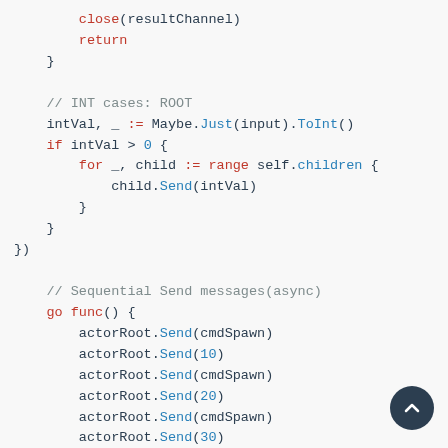close(resultChannel)
        return
    }

    // INT cases: ROOT
    intVal, _ := Maybe.Just(input).ToInt()
    if intVal > 0 {
        for _, child := range self.children {
            child.Send(intVal)
        }
    }
})

// Sequential Send messages(async)
go func() {
    actorRoot.Send(cmdSpawn)
    actorRoot.Send(10)
    actorRoot.Send(cmdSpawn)
    actorRoot.Send(20)
    actorRoot.Send(cmdSpawn)
    actorRoot.Send(30)
}()